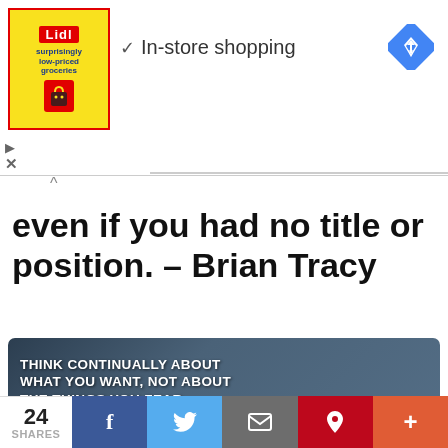[Figure (screenshot): Lidl ad banner with yellow/red logo, checkmark, 'In-store shopping' text, and Google Maps navigation icon]
even if you had no title or position. – Brian Tracy
[Figure (photo): Motivational quote image over blurred photo of person writing: THINK CONTINUALLY ABOUT WHAT YOU WANT, NOT ABOUT THE THINGS YOU FEAR.]
24 SHARES  [Facebook] [Twitter] [Email] [Pinterest] [More]